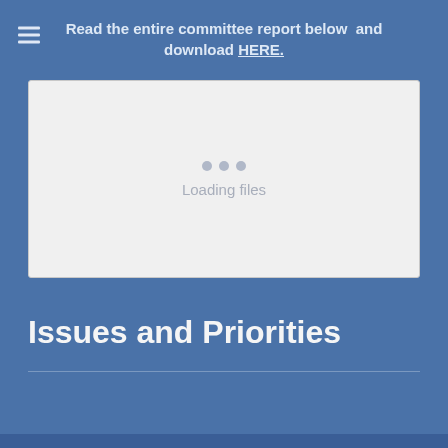Read the entire committee report below and download HERE.
[Figure (other): Embedded document viewer placeholder showing loading dots and 'Loading files' text on a light grey background]
Issues and Priorities